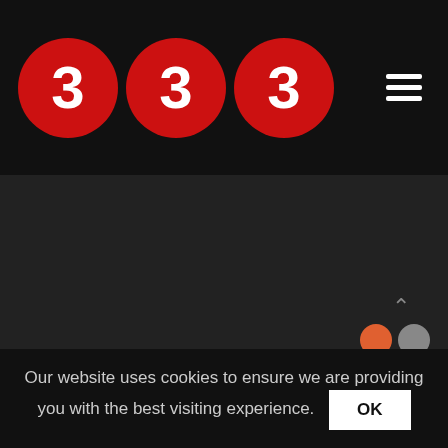[Figure (logo): Three red circles each containing the number 3 in white bold font, forming the '333' logo on a black navigation bar]
[Figure (other): Hamburger menu icon (three horizontal white lines) in top right of navigation bar]
[Figure (other): Down chevron arrow at top center above navigation bar]
[Figure (other): Dark gray main content area with up chevron arrow in bottom right and partial social media icons]
Our website uses cookies to ensure we are providing you with the best visiting experience.
OK